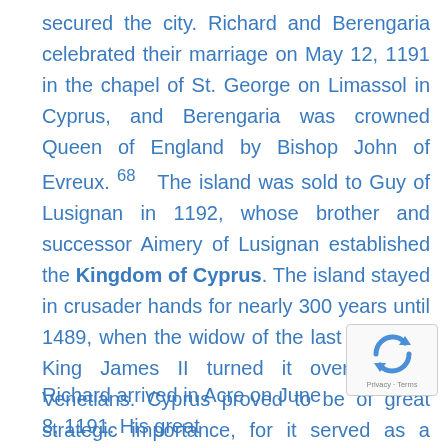secured the city. Richard and Berengaria celebrated their marriage on May 12, 1191 in the chapel of St. George on Limassol in Cyprus, and Berengaria was crowned Queen of England by Bishop John of Evreux. 68   The island was sold to Guy of Lusignan in 1192, whose brother and successor Aimery of Lusignan established the Kingdom of Cyprus. The island stayed in crusader hands for nearly 300 years until 1489, when the widow of the last Lusignan King James II turned it over to the Venetians. Cyprus proved to be of great strategic importance, for it served as a staging post and supply station for the Crusaders through the years. 69
Richard arrived in Acre on June 8, 1191. His great